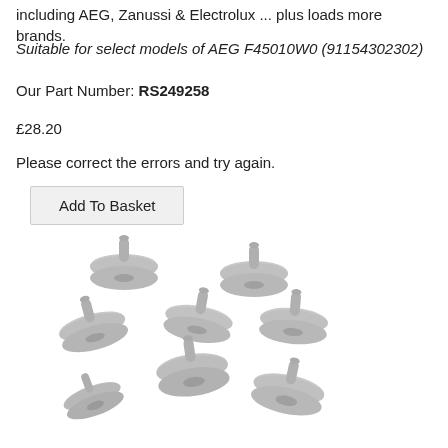including AEG, Zanussi & Electrolux ... plus loads more brands.
Suitable for select models of AEG F45010W0 (91154302302)
Our Part Number: RS249258
£28.20
Please correct the errors and try again.
Add To Basket
[Figure (photo): Eight grey plastic dishwasher basket wheels/rollers arranged in a scattered group on a white background.]